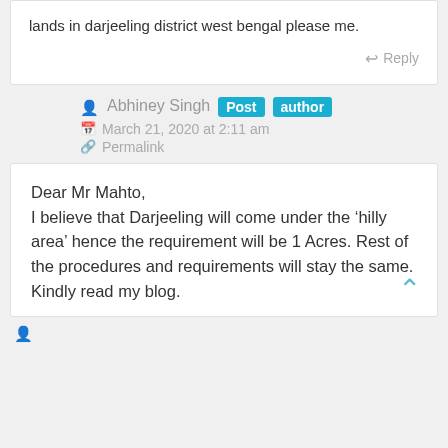lands in darjeeling district west bengal please me.
Reply
Abhiney Singh Post author
March 21, 2020 at 2:11 am
Permalink
Dear Mr Mahto,
I believe that Darjeeling will come under the ‘hilly area’ hence the requirement will be 1 Acres. Rest of the procedures and requirements will stay the same. Kindly read my blog.